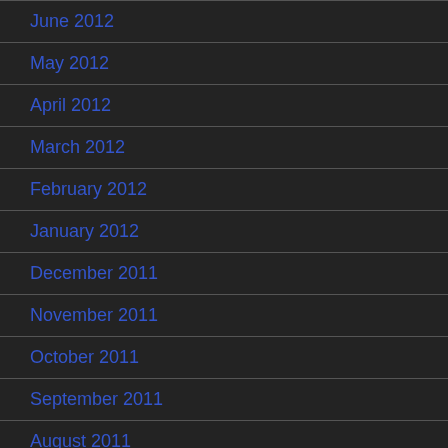June 2012
May 2012
April 2012
March 2012
February 2012
January 2012
December 2011
November 2011
October 2011
September 2011
August 2011